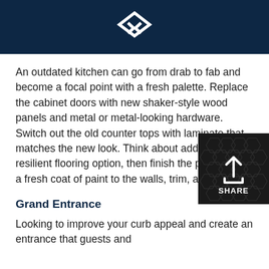[logo]
An outdated kitchen can go from drab to fab and become a focal point with a fresh palette. Replace the cabinet doors with new shaker-style wood panels and metal or metal-looking hardware. Switch out the old counter tops with laminate that matches the new look. Think about adding a resilient flooring option, then finish the project with a fresh coat of paint to the walls, trim, and ceiling.
Grand Entrance
Looking to improve your curb appeal and create an entrance that guests and